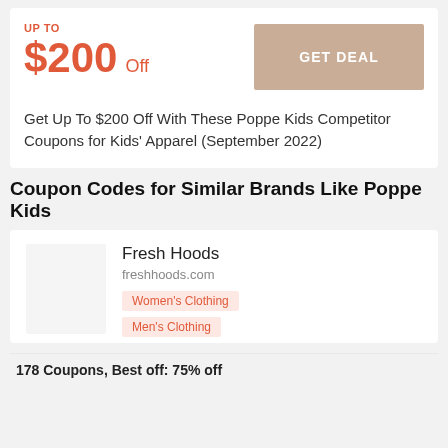UP TO
$200 Off
GET DEAL
Get Up To $200 Off With These Poppe Kids Competitor Coupons for Kids' Apparel (September 2022)
Coupon Codes for Similar Brands Like Poppe Kids
Fresh Hoods
freshhoods.com
Women's Clothing
Men's Clothing
178 Coupons,  Best off: 75% off